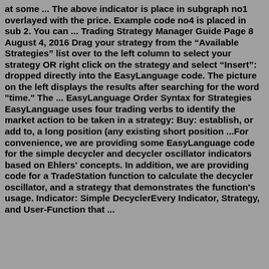at some ... The above indicator is place in subgraph no1 overlayed with the price. Example code no4 is placed in sub 2. You can ... Trading Strategy Manager Guide Page 8 August 4, 2016 Drag your strategy from the "Available Strategies" list over to the left column to select your strategy OR right click on the strategy and select "Insert": dropped directly into the EasyLanguage code. The picture on the left displays the results after searching for the word "time." The ... EasyLanguage Order Syntax for Strategies EasyLanguage uses four trading verbs to identify the market action to be taken in a strategy: Buy: establish, or add to, a long position (any existing short position ...For convenience, we are providing some EasyLanguage code for the simple decycler and decycler oscillator indicators based on Ehlers' concepts. In addition, we are providing code for a TradeStation function to calculate the decycler oscillator, and a strategy that demonstrates the function's usage. Indicator: Simple DecyclerEvery Indicator, Strategy, and User-Function that ...